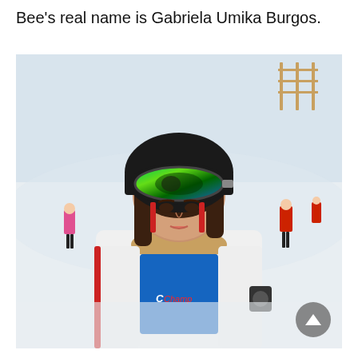Bee's real name is Gabriela Umika Burgos.
[Figure (photo): A young woman wearing a black ski helmet with green-mirrored Oakley goggles, a white fur-hooded ski jacket open over a blue Champion t-shirt, standing on a snowy ski slope. Other skiers are visible in the blurred background. A circular gray scroll-to-top button appears in the bottom-right corner of the image.]